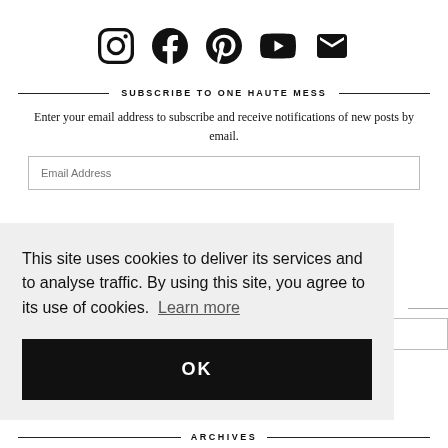[Figure (other): Row of 5 social media icons: Instagram, Facebook, Pinterest, YouTube, Email (envelope)]
SUBSCRIBE TO ONE HAUTE MESS
Enter your email address to subscribe and receive notifications of new posts by email.
This site uses cookies to deliver its services and to analyse traffic. By using this site, you agree to its use of cookies. Learn more
OK
ARCHIVES